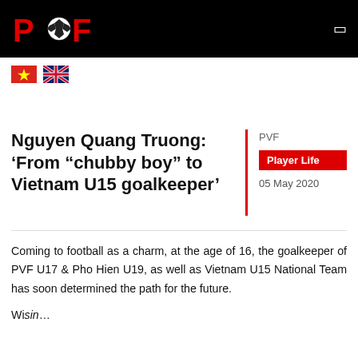PVF
[Figure (logo): PVF logo with soccer ball between P and F letters in red on black background]
[Figure (illustration): Vietnamese flag (red background with yellow star) and UK flag (Union Jack) icons]
Nguyen Quang Truong: ‘From “chubby boy” to Vietnam U15 goalkeeper’
PVF
Player Life
05 May 2020
Coming to football as a charm, at the age of 16, the goalkeeper of PVF U17 & Pho Hien U19, as well as Vietnam U15 National Team has soon determined the path for the future.
Wisin...